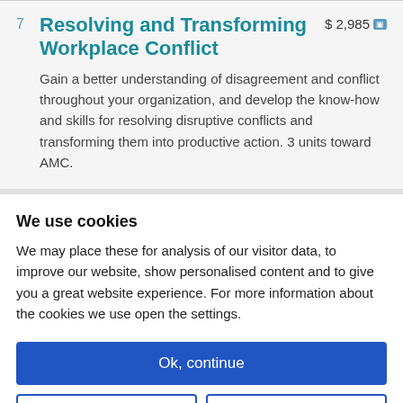7 Resolving and Transforming Workplace Conflict
$ 2,985
Gain a better understanding of disagreement and conflict throughout your organization, and develop the know-how and skills for resolving disruptive conflicts and transforming them into productive action. 3 units toward AMC.
We use cookies
We may place these for analysis of our visitor data, to improve our website, show personalised content and to give you a great website experience. For more information about the cookies we use open the settings.
Ok, continue
Deny
No, adjust